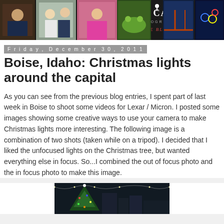[Figure (photo): Jeff Cable Photography blog header banner with collage of photos including wedding, portrait, frog, bridge, and Olympics images with the Jeff Cable Photography logo in the center]
Friday, December 30, 2011
Boise, Idaho: Christmas lights around the capital
As you can see from the previous blog entries, I spent part of last week in Boise to shoot some videos for Lexar / Micron. I posted some images showing some creative ways to use your camera to make Christmas lights more interesting. The following image is a combination of two shots (taken while on a tripod). I decided that I liked the unfocused lights on the Christmas tree, but wanted everything else in focus. So...I combined the out of focus photo and the in focus photo to make this image.
[Figure (photo): Night photo of Christmas tree with lights in Boise, Idaho capital area]